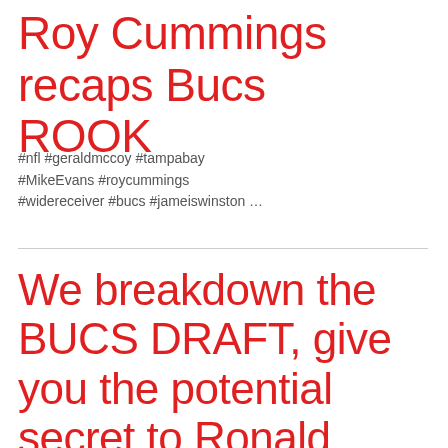Roy Cummings recaps Bucs ROOK
#nfl #geraldmccoy #tampabay #MikeEvans #roycummings #widereceiver #bucs #jameiswinston …
We breakdown the BUCS DRAFT, give you the potential secret to Ronald Jones turnaround?